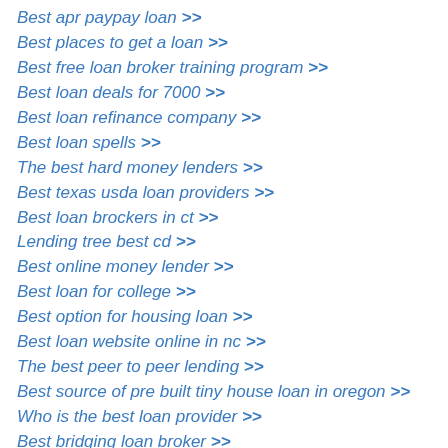Best apr paypay loan >>
Best places to get a loan >>
Best free loan broker training program >>
Best loan deals for 7000 >>
Best loan refinance company >>
Best loan spells >>
The best hard money lenders >>
Best texas usda loan providers >>
Best loan brockers in ct >>
Lending tree best cd >>
Best online money lender >>
Best loan for college >>
Best option for housing loan >>
Best loan website online in nc >>
The best peer to peer lending >>
Best source of pre built tiny house loan in oregon >>
Who is the best loan provider >>
Best bridging loan broker >>